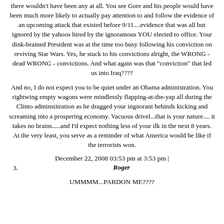there wouldn't have been any at all. You see Gore and his people would have been much more likely to actually pay attention to and follow the evidence of an upcoming attack that existed before 9/11....evidence that was all but ignored by the yahoos hired by the ignoramous YOU elected to office. Your dink-brained President was at the time too busy following his conviction on reviving Star Wars. Yes, he stuck to his convictions alright, the WRONG - dead WRONG - convictions. And what again was that "conviction" that led us into Iraq????
And no, I do not expect you to be quiet under an Obama administration. You rightwing empty wagons were mindlessly flapping-at-the-yap all during the Clinto adminstitration as he dragged your ingnorant behinds kicking and screaming into a prospering economy. Vacuous drivel...that is your nature.... it takes no brains.....and I'd expect nothing less of your ilk in the next 8 years. At the very least, you serve as a reminder of what America would be like if the terrorists won.
December 22, 2008 03:53 pm at 3:53 pm |
3. Roger
UMMMM...PARDON ME????